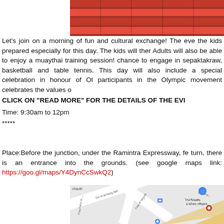[Figure (photo): Brick wall background image at top of page]
Let's join on a morning of fun and cultural exchange! The eve the kids prepared especially for this day. The kids will ther Adults will also be able to enjoy a muaythai training session! chance to engage in sepaktakraw, basketball and table tennis. This day will also include a special celebration in honour of Ol participants in the Olympic movement celebrates the values o
CLICK ON "READ MORE" FOR THE DETAILS OF THE EV
Time: 9:30am to 12pm
*****
Place:Before the junction, under the Ramintra Expressway, fe turn, there is an entrance into the grounds. (see google maps link: https://goo.gl/maps/Y4DynCcSwkQ2)
[Figure (map): Google Maps screenshot showing Ramintra Expressway area with Thai street labels]